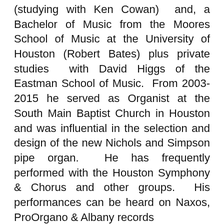(studying with Ken Cowan)  and, a Bachelor of Music from the Moores School of Music at the University of Houston (Robert Bates) plus private studies  with David Higgs of the Eastman School of Music.  From 2003-2015 he served as Organist at the South Main Baptist Church in Houston and was influential in the selection and design of the new Nichols and Simpson pipe organ.  He has frequently performed with the Houston Symphony & Chorus and other groups.  His performances can be heard on Naxos, ProOrgano & Albany records
FRIENDS OF MUSIC:  This recital series relies heavily on the generous financial support of its Friends of Music to maintain the series, now entering its 47th season.  As you are able, please consider supporting the series as a